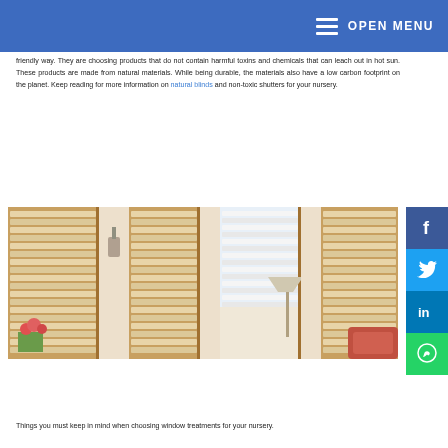OPEN MENU
friendly way. They are choosing products that do not contain harmful toxins and chemicals that can leach out in hot sun. These products are made from natural materials. While being durable, the materials also have a low carbon footprint on the planet. Keep reading for more information on natural blinds and non-toxic shutters for your nursery.
[Figure (photo): Interior photo showing wooden plantation shutters on multiple bay windows in a bright room with flowers and a lamp.]
Things you must keep in mind when choosing window treatments for your nursery.